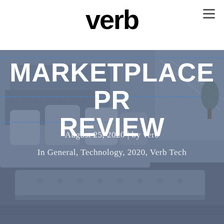[Figure (logo): Verb Communications logo in bold black sans-serif text]
MARKETPLACE PR REVIEW
August 25, 2020 | by verb
In General, Technology, 2020, Verb Tech
[Figure (photo): Interior living room scene with grey cushioned ottomans, pillows, and furniture, overlaid with a blue-grey semi-transparent tint]